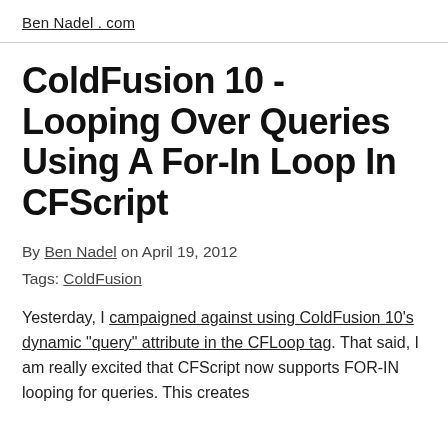BenNadel.com
ColdFusion 10 - Looping Over Queries Using A For-In Loop In CFScript
By Ben Nadel on April 19, 2012
Tags: ColdFusion
Yesterday, I campaigned against using ColdFusion 10's dynamic "query" attribute in the CFLoop tag. That said, I am really excited that CFScript now supports FOR-IN looping for queries. This creates